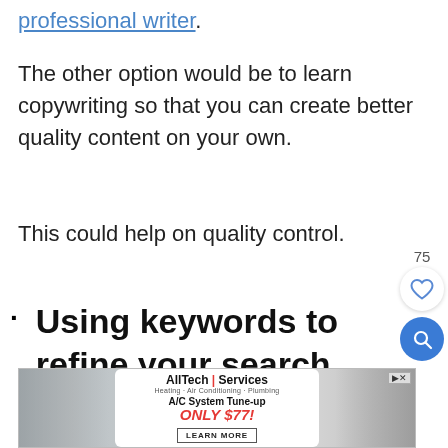professional writer.
The other option would be to learn copywriting so that you can create better quality content on your own.
This could help on quality control.
· Using keywords to refine your search.
[Figure (other): AllTech Services advertisement banner: A/C System Tune-up ONLY $77! LEARN MORE]